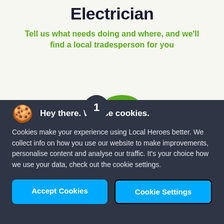Electrician
Tell us what needs doing and where, and we'll find a local tradesperson for you
[Figure (infographic): Step 1 indicator: dark circle with number 1 and a green rounded shape beside it]
Hey there. We use cookies.
Cookies make your experience using Local Heroes better. We collect info on how you use our website to make improvements, personalise content and analyse our traffic. It's your choice how we use your data, check out the cookie settings.
Accept Cookies
Cookie Settings